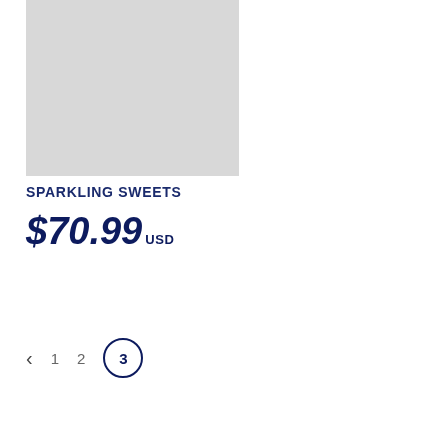[Figure (photo): Product image placeholder — light gray rectangle representing a product photo for Sparkling Sweets]
SPARKLING SWEETS
$70.99 USD
< 1 2 3